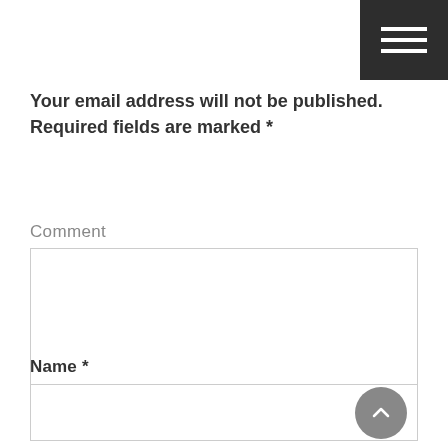[Figure (other): Dark hamburger menu button with three white horizontal lines in top-right corner]
Your email address will not be published. Required fields are marked *
Comment
[Figure (other): Comment text area input box]
Name *
[Figure (other): Name text input box with scroll-to-top circular button]